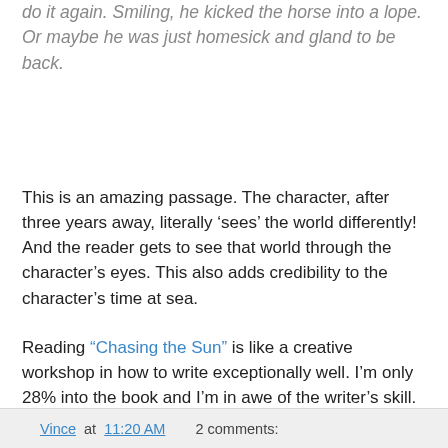do it again. Smiling, he kicked the horse into a lope. Or maybe he was just homesick and gland to be back.
This is an amazing passage. The character, after three years away, literally ‘sees’ the world differently! And the reader gets to see that world through the character’s eyes. This also adds credibility to the character’s time at sea.
Reading “Chasing the Sun” is like a creative workshop in how to write exceptionally well. I’m only 28% into the book and I’m in awe of the writer’s skill. Read this book!
Vince at 11:20 AM    2 comments: